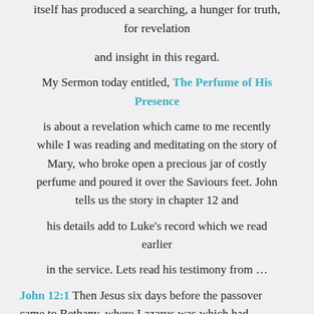itself has produced a searching, a hunger for truth, for revelation
and insight in this regard.
My Sermon today entitled, The Perfume of His Presence
is about a revelation which came to me recently while I was reading and meditating on the story of Mary, who broke open a precious jar of costly perfume and poured it over the Saviours feet. John tells us the story in chapter 12 and
his details add to Luke's record which we read earlier
in the service. Lets read his testimony from …
John 12:1 Then Jesus six days before the passover came to Bethany, where Lazarus was which had been dead, whom he raised from the dead. There they made him a supper; and Martha served; but